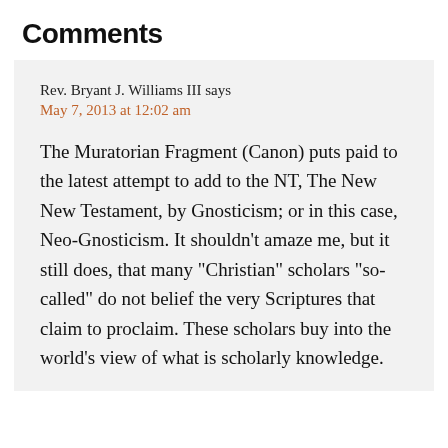Comments
Rev. Bryant J. Williams III says
May 7, 2013 at 12:02 am
The Muratorian Fragment (Canon) puts paid to the latest attempt to add to the NT, The New New Testament, by Gnosticism; or in this case, Neo-Gnosticism. It shouldn’t amaze me, but it still does, that many “Christian” scholars “so-called” do not belief the very Scriptures that claim to proclaim. These scholars buy into the world’s view of what is scholarly knowledge.